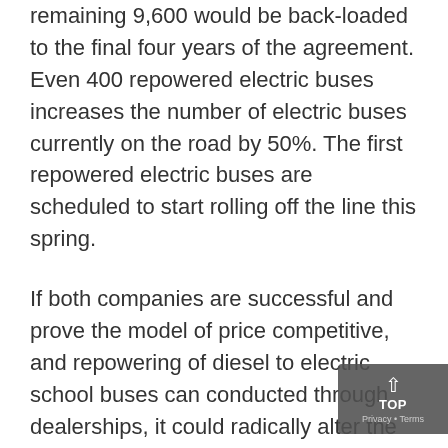remaining 9,600 would be back-loaded to the final four years of the agreement. Even 400 repowered electric buses increases the number of electric buses currently on the road by 50%. The first repowered electric buses are scheduled to start rolling off the line this spring.
If both companies are successful and prove the model of price competitive, and repowering of diesel to electric school buses can conducted through dealerships, it could radically alter the trajectory that previously pushed schoo